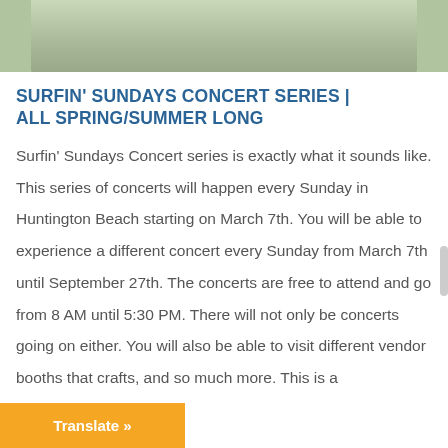[Figure (photo): Partial outdoor photo showing grass or sandy ground, cropped at top of page]
SURFIN' SUNDAYS CONCERT SERIES | ALL SPRING/SUMMER LONG
Surfin' Sundays Concert series is exactly what it sounds like. This series of concerts will happen every Sunday in Huntington Beach starting on March 7th. You will be able to experience a different concert every Sunday from March 7th until September 27th. The concerts are free to attend and go from 8 AM until 5:30 PM. There will not only be concerts going on either. You will also be able to visit different vendor booths that crafts, and so much more. This is a
Translate »